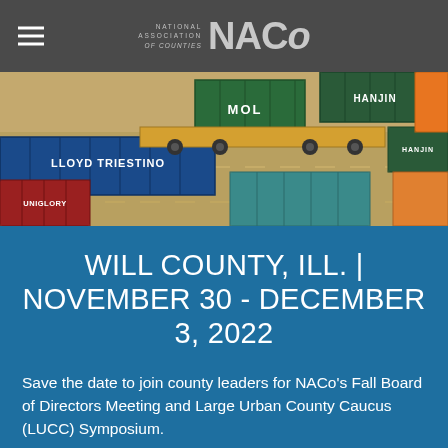NATIONAL ASSOCIATION of COUNTIES NACo
[Figure (photo): Aerial view of a shipping container yard with colorful freight containers including Lloyd Triestino, MOL, Hanjin, and Uniglory containers, with orange freight handling equipment visible.]
WILL COUNTY, ILL. | NOVEMBER 30 - DECEMBER 3, 2022
Save the date to join county leaders for NACo's Fall Board of Directors Meeting and Large Urban County Caucus (LUCC) Symposium.